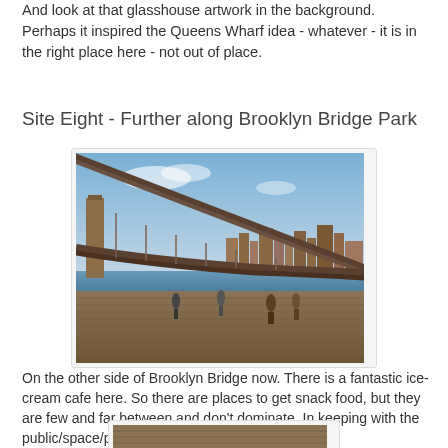And look at that glasshouse artwork in the background. Perhaps it inspired the Queens Wharf idea - whatever - it is in the right place here - not out of place.
Site Eight - Further along Brooklyn Bridge Park
[Figure (photo): Brooklyn Bridge Park waterfront photo showing the Brooklyn Bridge from below with Manhattan skyline in background, people walking on wooden boardwalk in foreground]
On the other side of Brooklyn Bridge now. There is a fantastic ice-cream cafe here. So there are places to get snack food, but they are few and far between and don't dominate. In keeping with the public/space/park emphasis.
[Figure (photo): Partial view of another photo at the bottom of the page, showing a wooden boardwalk surface]